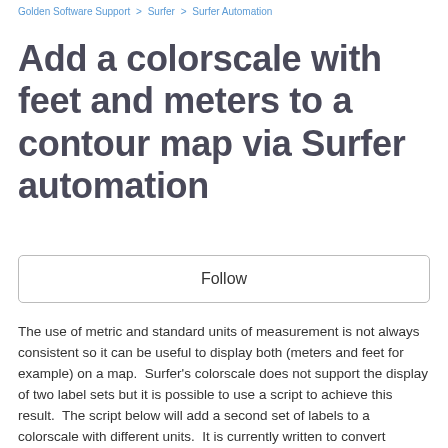Golden Software Support > Surfer > Surfer Automation
Add a colorscale with feet and meters to a contour map via Surfer automation
Follow
The use of metric and standard units of measurement is not always consistent so it can be useful to display both (meters and feet for example) on a map.  Surfer's colorscale does not support the display of two label sets but it is possible to use a script to achieve this result.  The script below will add a second set of labels to a colorscale with different units.  It is currently written to convert meters to feet so some